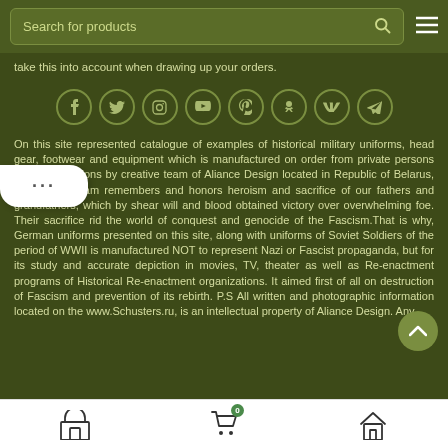Search for products
take this into account when drawing up your orders.
[Figure (infographic): Row of 8 social media icon circles: Facebook, Twitter, Instagram, YouTube, Pinterest, Odnoklassniki, VKontakte, Telegram]
On this site represented catalogue of examples of historical military uniforms, head gear, footwear and equipment which is manufactured on order from private persons and organizations by creative team of Aliance Design located in Republic of Belarus, Minsk. Our team remembers and honors heroism and sacrifice of our fathers and grandfathers, which by shear will and blood obtained victory over overwhelming foe. Their sacrifice rid the world of conquest and genocide of the Fascism.That is why, German uniforms presented on this site, along with uniforms of Soviet Soldiers of the period of WWII is manufactured NOT to represent Nazi or Fascist propaganda, but for its study and accurate depiction in movies, TV, theater as well as Re-enactment programs of Historical Re-enactment organizations. It aimed first of all on destruction of Fascism and prevention of its rebirth. P.S All written and photographic information located on the www.Schusters.ru, is an intellectual property of Aliance Design. Any
Store | Cart (0) | Home